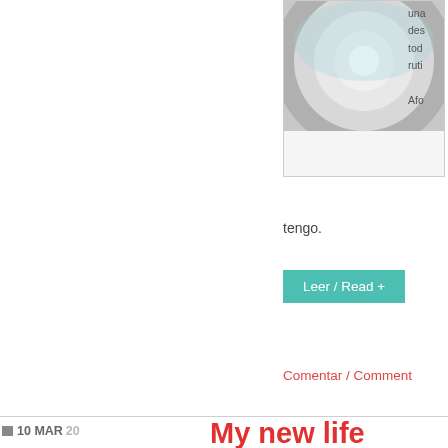[Figure (photo): Close-up of metallic circular object, possibly a wheel or disc, cropped at top]
una des tod ruti Afo
tengo.
Leer / Read +
Comentar / Comment
10 MAR 20
My new life
Carlos Cuéllar
[Figure (photo): Group of people posing in front of Real Madrid and Barcelona logos on a TV set]
It s yea Ath afte kno